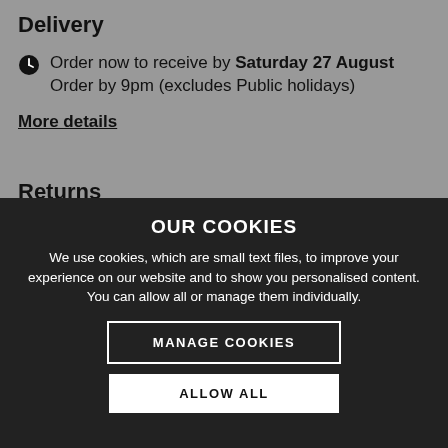Delivery
Order now to receive by Saturday 27 August Order by 9pm (excludes Public holidays)
More details
Returns
OUR COOKIES
We use cookies, which are small text files, to improve your experience on our website and to show you personalised content. You can allow all or manage them individually.
MANAGE COOKIES
ALLOW ALL